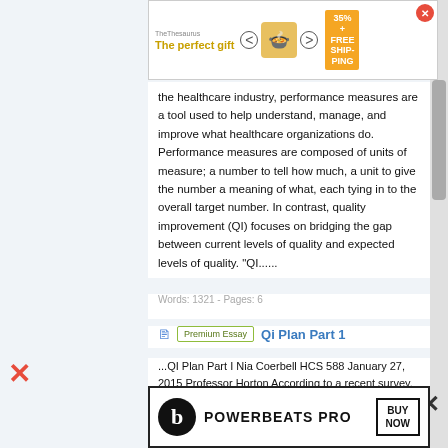[Figure (other): Top advertisement banner: 'The perfect gift' with food imagery, 35% FREE SHIPPING badge, navigation arrows, and close button]
the healthcare industry, performance measures are a tool used to help understand, manage, and improve what healthcare organizations do. Performance measures are composed of units of measure; a number to tell how much, a unit to give the number a meaning of what, each tying in to the overall target number. In contrast, quality improvement (QI) focuses on bridging the gap between current levels of quality and expected levels of quality. "QI......
Words: 1321 - Pages: 6
Premium Essay  Qi Plan Part 1
...QI Plan Part I Nia Coerbell HCS 588 January 27, 2015 Professor Horton According to a recent survey, the quality of services of Premier Health Systems...
[Figure (other): Bottom advertisement banner: Beats Powerbeats Pro logo with BUY NOW button]